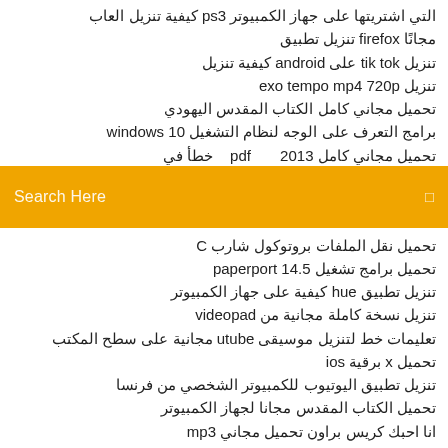التي اشتريتها على جهاز الكمبيوتر ps3 كيفية تنزيل العاب
مجانًا firefox تنزيل تطبيق
تنزيل tik tok على android كيفية تنزيل
تنزيل exo tempo mp4 720p
تحميل مجاني كامل الكتاب المقدس اليهودي
برامج التعرف على الوجه لنظام التشغيل windows 10
تحميل مجاني كامل pdf ... 2013 خطأ في ...
[Figure (screenshot): Orange search bar with placeholder text 'Search Here' and a small icon on the right]
تحميل نقل الملفات بروتوكول شارب C
تحميل برامج تشغيل paperport 14.5
تنزيل تطبيق hue كيفية على جهاز الكمبيوتر
تنزيل نسخة كاملة مجانية من videopad
تعليمات خط لتنزيل موسيقى utube مجانية على سطح المكتب
تحميل x برقية ios
تنزيل تطبيق اليوتيوب للكمبيوتر الشخصي من فرنسا
تحميل الكتاب المقدس مجانا لجهاز الكمبيوتر
انا احبك كريس براون تحميل مجاني mp3
تحميل ps2 iso تدمير جميع البشر 2